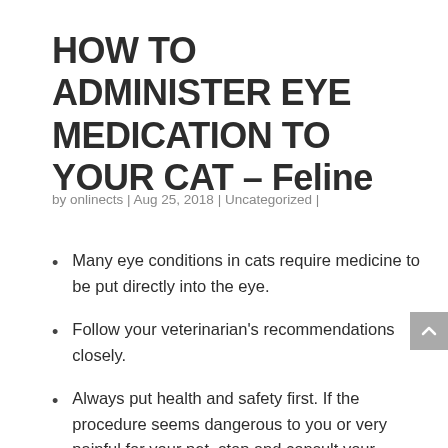HOW TO ADMINISTER EYE MEDICATION TO YOUR CAT – Feline
by onlinects | Aug 25, 2018 | Uncategorized |
Many eye conditions in cats require medicine to be put directly into the eye.
Follow your veterinarian's recommendations closely.
Always put health and safety first. If the procedure seems dangerous to you or very painful for your pet, stop and consult your veterinarian.